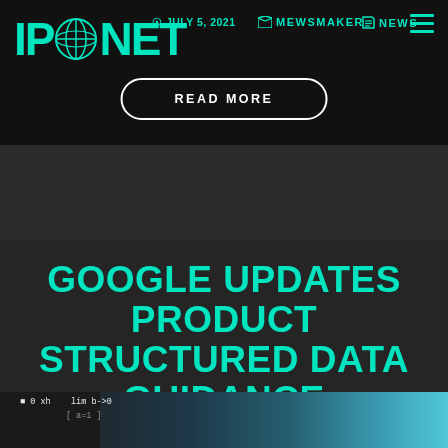IPONET
JULY 5, 2021
MEWSMAKER
NEWS
READ MORE
GOOGLE UPDATES PRODUCT STRUCTURED DATA GUIDANCE
[Figure (screenshot): Dark background with code/programming text visible, teal/cyan gradient on right side suggesting a digital or web technology visual]